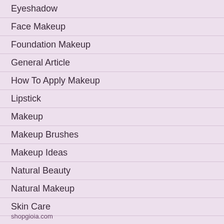Eyeshadow
Face Makeup
Foundation Makeup
General Article
How To Apply Makeup
Lipstick
Makeup
Makeup Brushes
Makeup Ideas
Natural Beauty
Natural Makeup
Skin Care
shopgioia.com